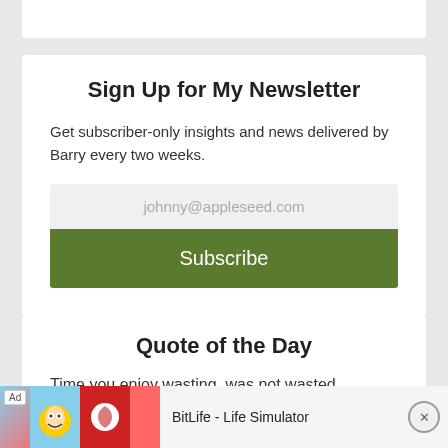Sign Up for My Newsletter
Get subscriber-only insights and news delivered by Barry every two weeks.
johnny@appleseed.com
Subscribe
Quote of the Day
Time you enjoy wasting, was not wasted.
John Lennon
[Figure (screenshot): Advertisement banner for BitLife - Life Simulator with Ad badge, cartoon character image, and red background with game logo]
BitLife - Life Simulator